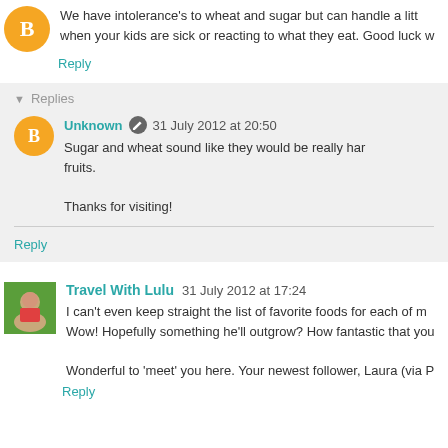We have intolerance's to wheat and sugar but can handle a little when your kids are sick or reacting to what they eat. Good luck w
Reply
Replies
Unknown  31 July 2012 at 20:50
Sugar and wheat sound like they would be really hard fruits.

Thanks for visiting!
Reply
Travel With Lulu  31 July 2012 at 17:24
I can't even keep straight the list of favorite foods for each of m Wow! Hopefully something he'll outgrow? How fantastic that you

Wonderful to 'meet' you here. Your newest follower, Laura (via P
Reply